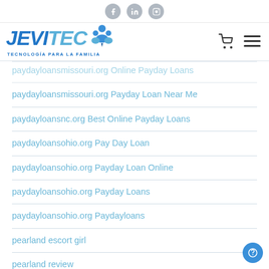JEVITEC - TECNOLOGÍA PARA LA FAMILIA
paydayloansmissouri.org Online Payday Loans
paydayloansmissouri.org Payday Loan Near Me
paydayloansnc.org Best Online Payday Loans
paydayloansohio.org Pay Day Loan
paydayloansohio.org Payday Loan Online
paydayloansohio.org Payday Loans
paydayloansohio.org Paydayloans
pearland escort girl
pearland review